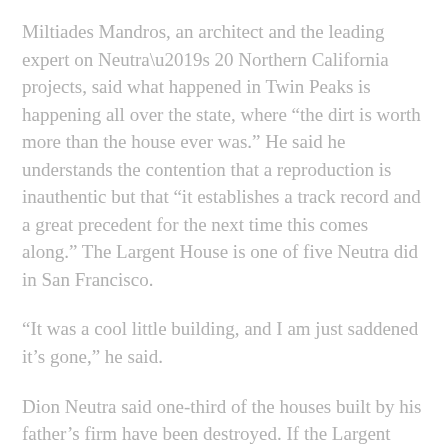Miltiades Mandros, an architect and the leading expert on Neutra’s 20 Northern California projects, said what happened in Twin Peaks is happening all over the state, where “the dirt is worth more than the house ever was.” He said he understands the contention that a reproduction is inauthentic but that “it establishes a track record and a great precedent for the next time this comes along.” The Largent House is one of five Neutra did in San Francisco.
“It was a cool little building, and I am just saddened it’s gone,” he said.
Dion Neutra said one-third of the houses built by his father’s firm have been destroyed. If the Largent House is reconstructed, he would like to help out. “We